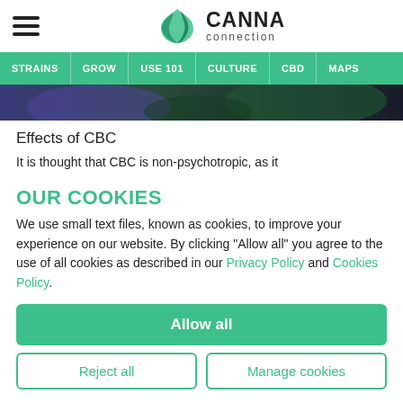CANNA connection
STRAINS | GROW | USE 101 | CULTURE | CBD | MAPS
[Figure (photo): Close-up photo of cannabis buds with purple and green tones]
Effects of CBC
It is thought that CBC is non-psychotropic, as it
OUR COOKIES
We use small text files, known as cookies, to improve your experience on our website. By clicking "Allow all" you agree to the use of all cookies as described in our Privacy Policy and Cookies Policy.
Allow all
Reject all
Manage cookies